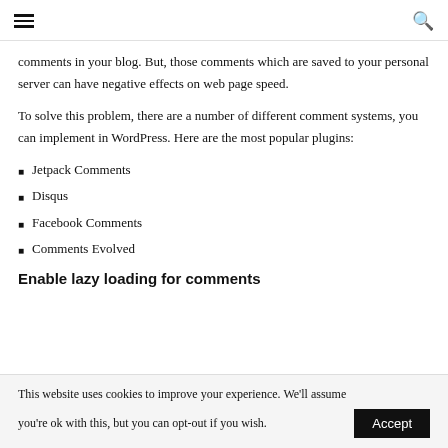≡  🔍
comments in your blog. But, those comments which are saved to your personal server can have negative effects on web page speed.
To solve this problem, there are a number of different comment systems, you can implement in WordPress. Here are the most popular plugins:
Jetpack Comments
Disqus
Facebook Comments
Comments Evolved
Enable lazy loading for comments
This website uses cookies to improve your experience. We'll assume you're ok with this, but you can opt-out if you wish.